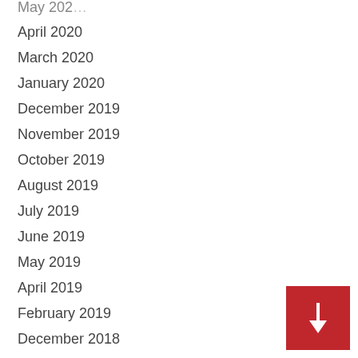May 2021
April 2020
March 2020
January 2020
December 2019
November 2019
October 2019
August 2019
July 2019
June 2019
May 2019
April 2019
February 2019
December 2018